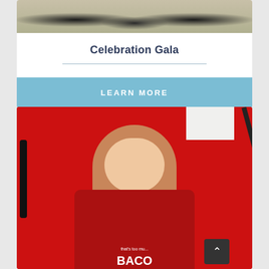[Figure (photo): Top portion of a photo showing food dishes on a table at what appears to be a gala event]
Celebration Gala
LEARN MORE
[Figure (photo): A young woman with Down syndrome wearing glasses and a red 'BACON' t-shirt making a heart shape with her hands, seated in a chair against a red background]